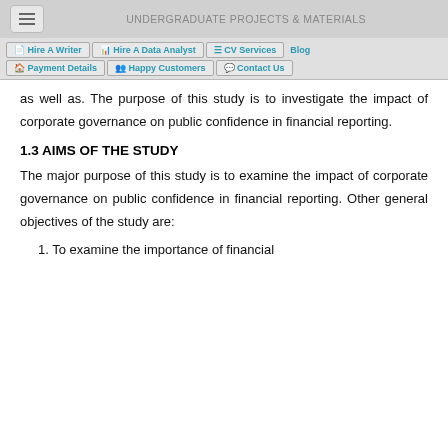UNDERGRADUATE PROJECTS & MATERIALS
Hire A Writer  Hire A Data Analyst  CV Services  Blog  Payment Details  Happy Customers  Contact Us
as well as. The purpose of this study is to investigate the impact of corporate governance on public confidence in financial reporting.
1.3 AIMS OF THE STUDY
The major purpose of this study is to examine the impact of corporate governance on public confidence in financial reporting. Other general objectives of the study are:
1. To examine the importance of financial